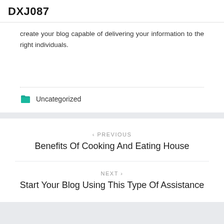DXJ087
create your blog capable of delivering your information to the right individuals.
Uncategorized
< PREVIOUS
Benefits Of Cooking And Eating House
NEXT >
Start Your Blog Using This Type Of Assistance